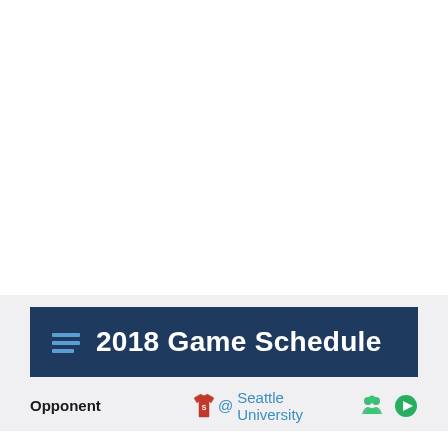2018 Game Schedule
| Opponent |  | @ Seattle University |  |  |
| --- | --- | --- | --- | --- |